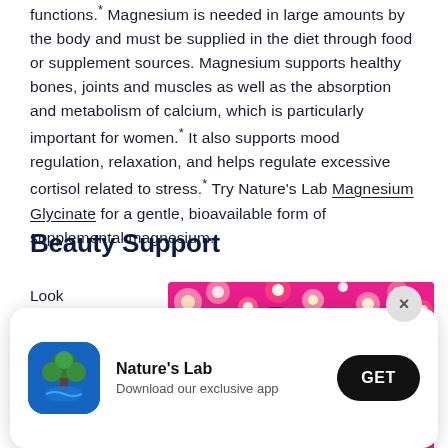functions.* Magnesium is needed in large amounts by the body and must be supplied in the diet through food or supplement sources. Magnesium supports healthy bones, joints and muscles as well as the absorption and metabolism of calcium, which is particularly important for women.* It also supports mood regulation, relaxation, and helps regulate excessive cortisol related to stress.* Try Nature's Lab Magnesium Glycinate for a gentle, bioavailable form of supplemental magnesium.
Beauty Support
Look and feel your
[Figure (photo): Woman with dark curly hair surrounded by pink and white flowers, beauty/lifestyle photo]
[Figure (screenshot): Nature's Lab app download popup with green tree logo icon, 'Nature's Lab' title, 'Download our exclusive app' subtitle, and black GET button, with X close button]